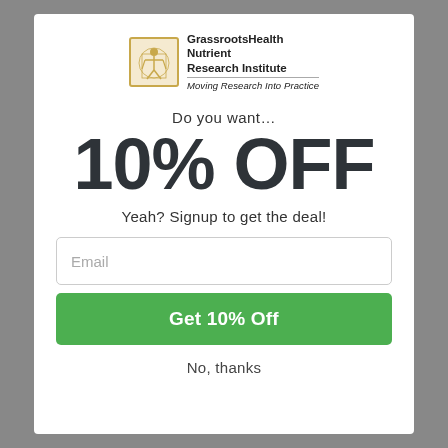[Figure (logo): GrassrootsHealth Nutrient Research Institute logo with Vitruvian man icon and tagline 'Moving Research Into Practice']
Do you want…
10% OFF
Yeah? Signup to get the deal!
Email
Get 10% Off
No, thanks